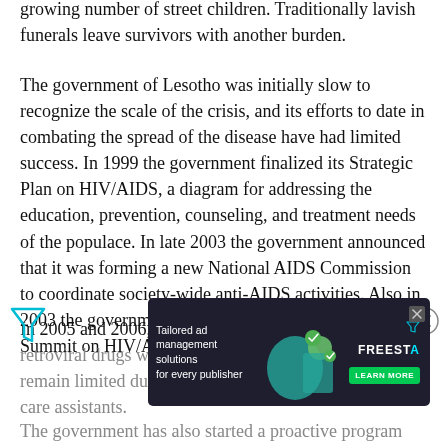growing number of street children. Traditionally lavish funerals leave survivors with another burden.
The government of Lesotho was initially slow to recognize the scale of the crisis, and its efforts to date in combating the spread of the disease have had limited success. In 1999 the government finalized its Strategic Plan on HIV/AIDS, a diagram for addressing the education, prevention, counseling, and treatment needs of the populace. In late 2003 the government announced that it was forming a new National AIDS Commission to coordinate society-wide anti-AIDS activities. Also in 2003 the government hosted a SADC Extraordinary Summit on HIV/AIDS.
In 2005 and 2006, programs for the distribution of anti-retroviral drugs were initiated, but such programs remain limited due to the shortage of qualified health care assistants.
The government has also started a proactive program
[Figure (screenshot): Advertisement overlay: 'Tailored ad management solutions for every publisher' with FREESTA branding and LEARN MORE button, with a close button (X) in top right corner of the ad, and a filter/funnel icon on the left side of the page]